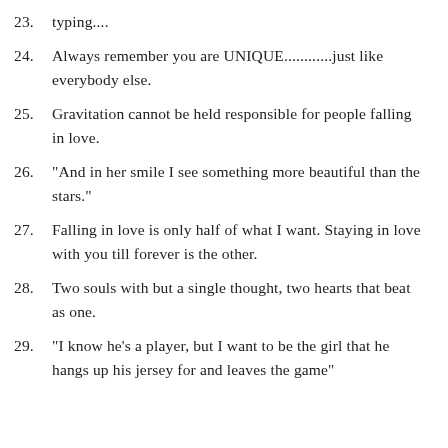23. typing....
24. Always remember you are UNIQUE............just like everybody else.
25. Gravitation cannot be held responsible for people falling in love.
26. “And in her smile I see something more beautiful than the stars.”
27. Falling in love is only half of what I want. Staying in love with you till forever is the other.
28. Two souls with but a single thought, two hearts that beat as one.
29. "I know he's a player, but I want to be the girl that he hangs up his jersey for and leaves the game"